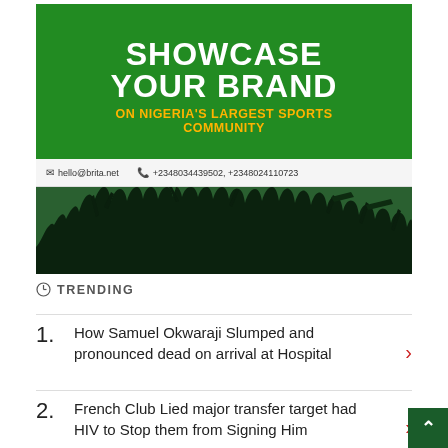[Figure (illustration): Advertisement banner for Brita.net showing 'SHOWCASE YOUR BRAND ON NIGERIA'S LARGEST SPORTS COMMUNITY' with contact info hello@brita.net, +2348034439502, +2348024110723, and crowd silhouettes on green background]
TRENDING
How Samuel Okwaraji Slumped and pronounced dead on arrival at Hospital
French Club Lied major transfer target had HIV to Stop them from Signing Him